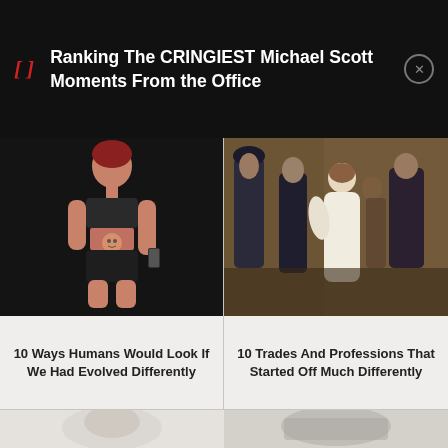[Figure (other): Dark banner with bracket icon and article title text: Ranking The CRINGIEST Michael Scott Moments From the Office, with close button]
[Figure (photo): Digital illustration of a human figure that has evolved differently, shown in black athletic wear with an unusual anatomy, holding a phone]
10 Ways Humans Would Look If We Had Evolved Differently
[Figure (photo): Classical oil painting showing figures in historical dress, a woman in white and men in dark coats]
10 Trades And Professions That Started Off Much Differently
[Figure (photo): Bottom strip showing partial cropped photos of two articles, light colored backgrounds]
[Figure (photo): Bottom strip second partial cropped photo]